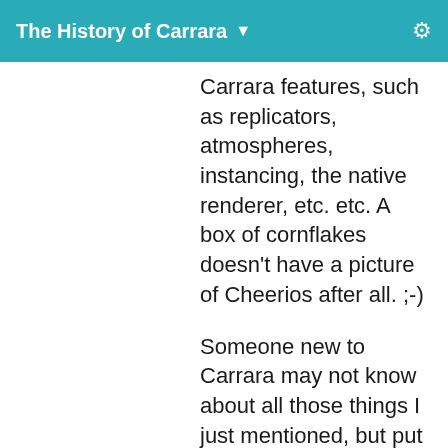The History of Carrara
Carrara features, such as replicators, atmospheres, instancing, the native renderer, etc. etc. A box of cornflakes doesn't have a picture of Cheerios after all. ;-)
Someone new to Carrara may not know about all those things I just mentioned, but put them on the cover and they get an idea of what Carrara can do. It can handle realistic figure, environments, etc. etc.
If it looks too much like DAZ Studio artwork, the takeaway is why should I pay for Carrara...